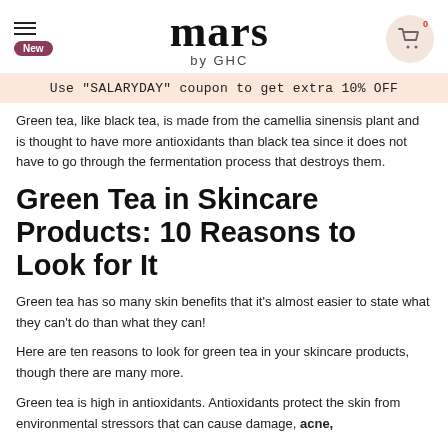mars by GHC — New — Cart (0)
Use "SALARYDAY" coupon to get extra 10% OFF
Green tea, like black tea, is made from the camellia sinensis plant and is thought to have more antioxidants than black tea since it does not have to go through the fermentation process that destroys them.
Green Tea in Skincare Products: 10 Reasons to Look for It
Green tea has so many skin benefits that it's almost easier to state what they can't do than what they can!
Here are ten reasons to look for green tea in your skincare products, though there are many more.
Green tea is high in antioxidants. Antioxidants protect the skin from environmental stressors that can cause damage, acne,